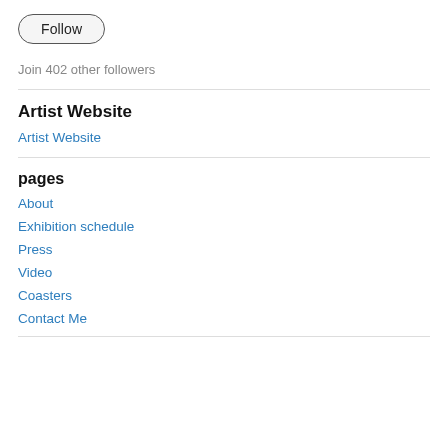[Figure (other): Follow button with rounded pill shape and dark border]
Join 402 other followers
Artist Website
Artist Website
pages
About
Exhibition schedule
Press
Video
Coasters
Contact Me